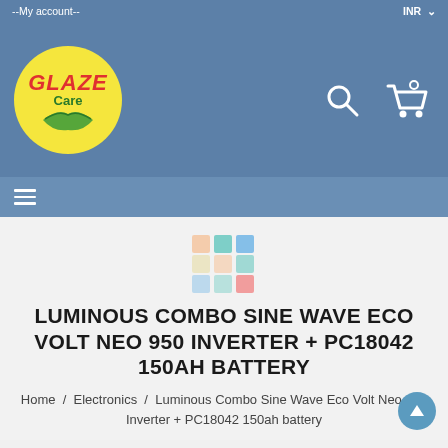--My account--   INR
[Figure (logo): Glaze Care logo — yellow circle with 'GLAZE Care' text and green hand graphic]
LUMINOUS COMBO SINE WAVE ECO VOLT NEO 950 INVERTER + PC18042 150AH BATTERY
Home / Electronics / Luminous Combo Sine Wave Eco Volt Neo 950 Inverter + PC18042 150ah battery